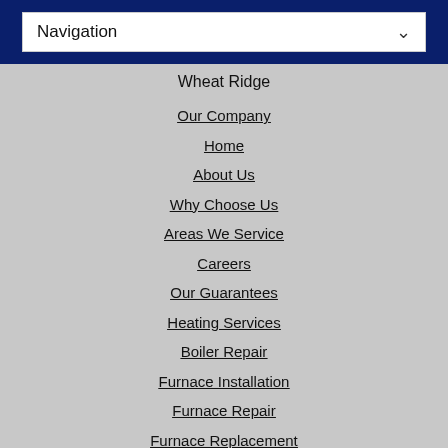Navigation
Wheat Ridge
Our Company
Home
About Us
Why Choose Us
Areas We Service
Careers
Our Guarantees
Heating Services
Boiler Repair
Furnace Installation
Furnace Repair
Furnace Replacement
Heating Repair
Water Heater Repair
[Figure (illustration): Orange house-shaped TOP button in bottom right corner]